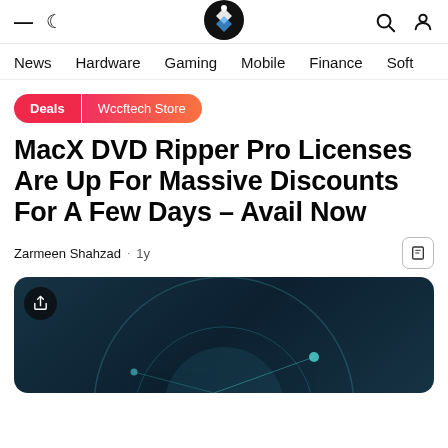Wccftech navigation bar with logo, hamburger menu, moon icon, search and profile icons
News | Hardware | Gaming | Mobile | Finance | Soft
Deals | Wccftech Store
MacX DVD Ripper Pro Licenses Are Up For Massive Discounts For A Few Days – Avail Now
Zarmeen Shahzad · 1y
[Figure (illustration): Hero image with dark teal/navy background featuring circular graphic design elements suggesting a tech/DVD theme]